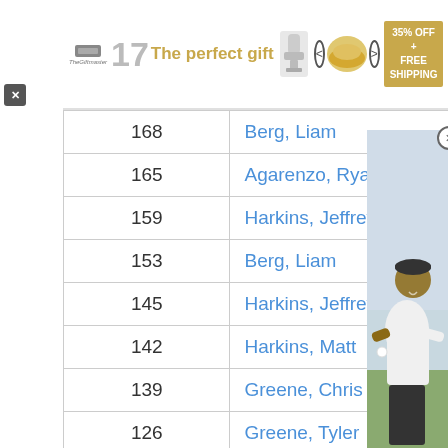[Figure (other): Advertisement banner: The Giftmaster logo, number 17, 'The perfect gift' in gold text, trophy image, navigation arrows, food bowl image, '35% OFF + FREE SHIPPING' promo box]
| Score | Player |
| --- | --- |
| 168 | Berg, Liam |
| 165 | Agarenzo, Ryan |
| 159 | Harkins, Jeffrey |
| 153 | Berg, Liam |
| 145 | Harkins, Jeffrey |
| 142 | Harkins, Matt |
| 139 | Greene, Chris |
| 126 | Greene, Tyler |
| 124 | Harkins, Matt |
| 122 | Harkins, Jeffrey |
[Figure (photo): Photo of a man in white shirt and black pants wearing a dark cap, smiling, outdoors with blurred background]